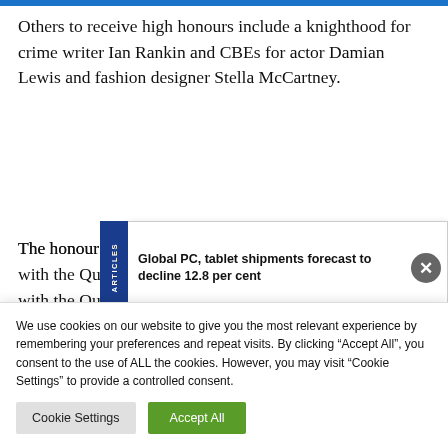Others to receive high honours include a knighthood for crime writer Ian Rankin and CBEs for actor Damian Lewis and fashion designer Stella McCartney.
The honours list is... with the Queen's official birthday celebrations in
[Figure (screenshot): Popup notification bar with dark blue left border and text: 'Global PC, tablet shipments forecast to decline 12.8 per cent', with a close (X) button on the right and 'ARTICLES' written vertically on the left blue bar.]
We use cookies on our website to give you the most relevant experience by remembering your preferences and repeat visits. By clicking "Accept All", you consent to the use of ALL the cookies. However, you may visit "Cookie Settings" to provide a controlled consent.
Cookie Settings | Accept All